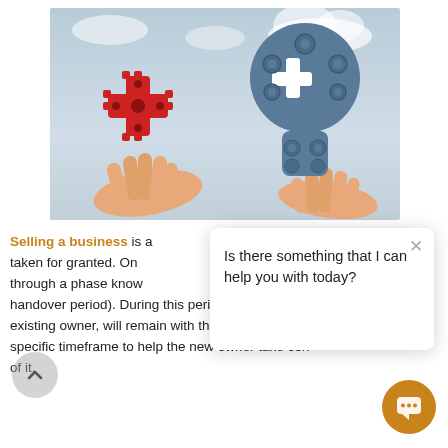[Figure (illustration): Two hands exchanging puzzle pieces: left hand holds a red gear-shaped puzzle piece, right hand holds a human head figure made of blue gears with a white puzzle piece cut-out, against a cloudy sky background.]
Selling a business is a ... taken for granted. Onc... through a phase know... handover period). During this period, you, as the existing owner, will remain with the business for a specific timeframe to help the new owner take con... of it.